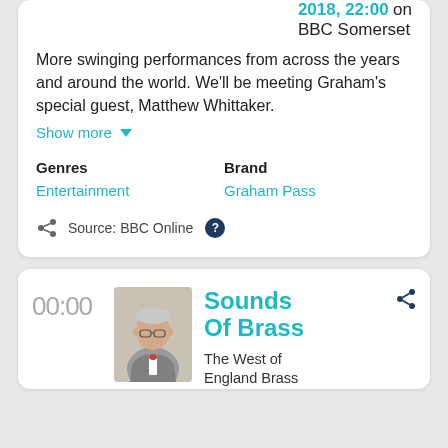2018, 22:00 on BBC Somerset
More swinging performances from across the years and around the world. We'll be meeting Graham's special guest, Matthew Whittaker.
Show more
Genres
Entertainment
Brand
Graham Pass
Source: BBC Online
00:00
[Figure (photo): Portrait photo of an older man in a grey suit with a bow tie and glasses]
Sounds Of Brass
The West of England Brass